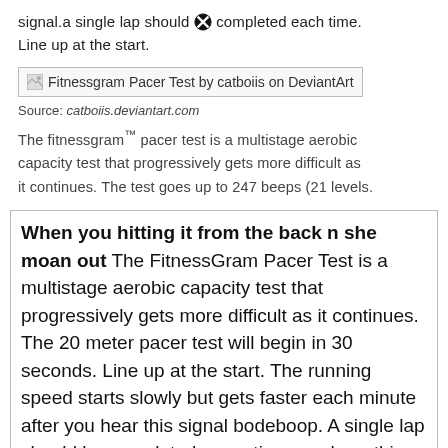signal.a single lap should ⊗ completed each time. Line up at the start.
[Figure (illustration): Broken image placeholder: Fitnessgram Pacer Test by catboiis on DeviantArt]
Source: catboiis.deviantart.com
The fitnessgram™ pacer test is a multistage aerobic capacity test that progressively gets more difficult as it continues. The test goes up to 247 beeps (21 levels.
When you hitting it from the back n she moan out The FitnessGram Pacer Test is a multistage aerobic capacity test that progressively gets more difficult as it continues. The 20 meter pacer test will begin in 30 seconds. Line up at the start. The running speed starts slowly but gets faster each minute after you hear this signal bodeboop. A single lap should be completed every time you hear this sound. ding Remember to run in a straight line and run as long as possible. The ⊗cond time you fail to